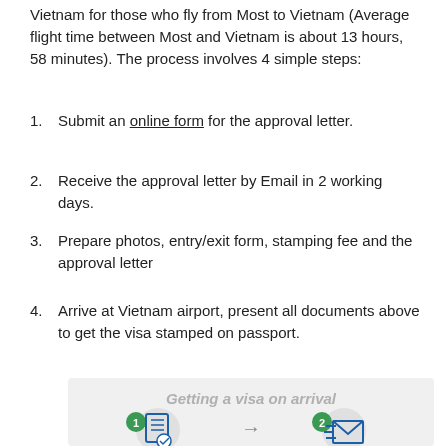Vietnam for those who fly from Most to Vietnam (Average flight time between Most and Vietnam is about 13 hours, 58 minutes). The process involves 4 simple steps:
1. Submit an online form for the approval letter.
2. Receive the approval letter by Email in 2 working days.
3. Prepare photos, entry/exit form, stamping fee and the approval letter
4. Arrive at Vietnam airport, present all documents above to get the visa stamped on passport.
[Figure (infographic): Getting a visa on arrival infographic showing step 1 (form with checkmark icon) and step 2 (email/envelope icon) with numbered green circles and an arrow between them]